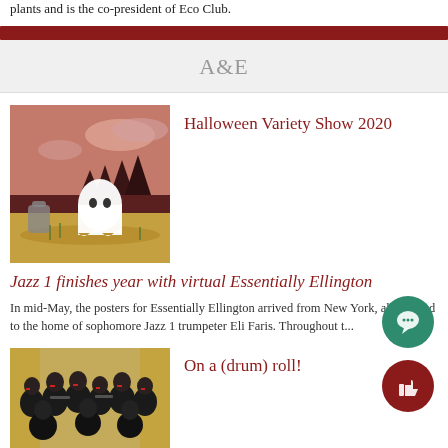plants and is the co-president of Eco Club.
A&E
Halloween Variety Show 2020
[Figure (illustration): Halloween illustration with ghost and dark forest background]
Jazz 1 finishes year with virtual Essentially Ellington
In mid-May, the posters for Essentially Ellington arrived from New York, all shipped to the home of sophomore Jazz 1 trumpeter Eli Faris. Throughout t...
[Figure (photo): Band members performing on stage in black attire with red ties]
On a (drum) roll!